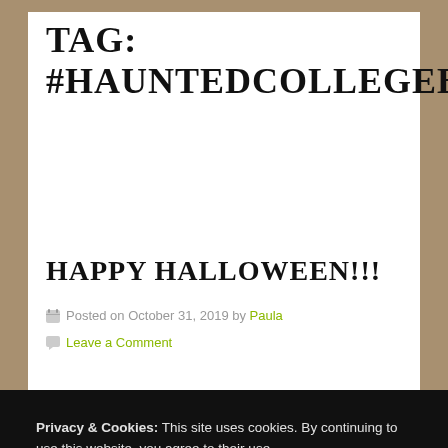TAG: #HAUNTEDCOLLEGEBOYSARC
HAPPY HALLOWEEN!!!
Posted on October 31, 2019 by Paula
Leave a Comment
Privacy & Cookies: This site uses cookies. By continuing to use this website, you agree to their use.
To find out more, including how to control cookies, see here: Cookie Policy